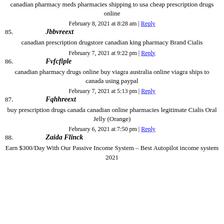canadian pharmacy meds pharmacies shipping to usa cheap prescription drugs online
February 8, 2021 at 8:28 am | Reply
85. Jbbvreext
canadian prescription drugstore canadian king pharmacy Brand Cialis
February 7, 2021 at 9:22 pm | Reply
86. Fvfcfiple
canadian pharmacy drugs online buy viagra australia online viagra ships to canada using paypal
February 7, 2021 at 5:13 pm | Reply
87. Fqhhreext
buy prescription drugs canada canadian online pharmacies legitimate Cialis Oral Jelly (Orange)
February 6, 2021 at 7:50 pm | Reply
88. Zaida Flinck
Earn $300/Day With Our Passive Income System – Best Autopilot income system 2021